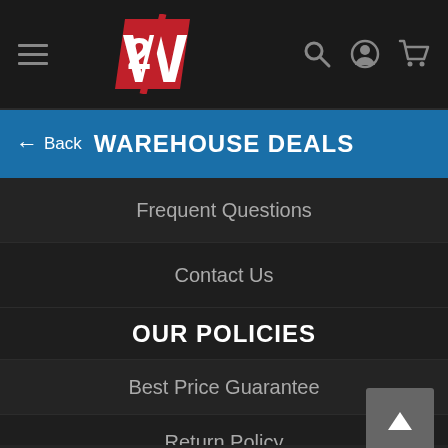[Figure (screenshot): Website navigation header with hamburger menu, 2W logo (red and white), search icon, account icon, and cart icon on dark background]
WAREHOUSE DEALS
Frequent Questions
Contact Us
OUR POLICIES
Best Price Guarantee
Return Policy
Privacy Policy